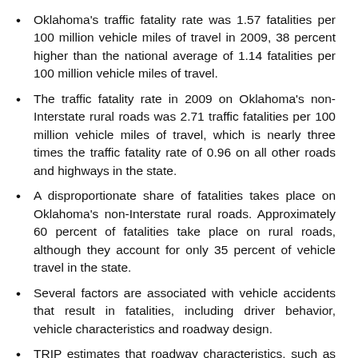Oklahoma's traffic fatality rate was 1.57 fatalities per 100 million vehicle miles of travel in 2009, 38 percent higher than the national average of 1.14 fatalities per 100 million vehicle miles of travel.
The traffic fatality rate in 2009 on Oklahoma's non-Interstate rural roads was 2.71 traffic fatalities per 100 million vehicle miles of travel, which is nearly three times the traffic fatality rate of 0.96 on all other roads and highways in the state.
A disproportionate share of fatalities takes place on Oklahoma's non-Interstate rural roads. Approximately 60 percent of fatalities take place on rural roads, although they account for only 35 percent of vehicle travel in the state.
Several factors are associated with vehicle accidents that result in fatalities, including driver behavior, vehicle characteristics and roadway design.
TRIP estimates that roadway characteristics, such as lane widths, lighting, signage and the presence or